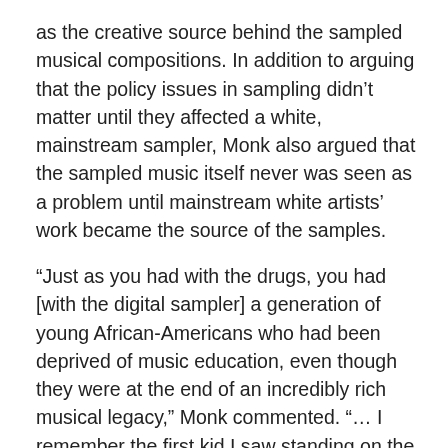as the creative source behind the sampled musical compositions. In addition to arguing that the policy issues in sampling didn't matter until they affected a white, mainstream sampler, Monk also argued that the sampled music itself never was seen as a problem until mainstream white artists' work became the source of the samples.
“Just as you had with the drugs, you had [with the digital sampler] a generation of young African-Americans who had been deprived of music education, even though they were at the end of an incredibly rich musical legacy,” Monk commented. “… I remember the first kid I saw standing on the block [in the early eighties]; he’s a human beat box. And I knew he needed a drum kit; he wanted to play some drums, but there were no drums. So he was making due.”
“Then someone says ‘Man, that little two beat piece of